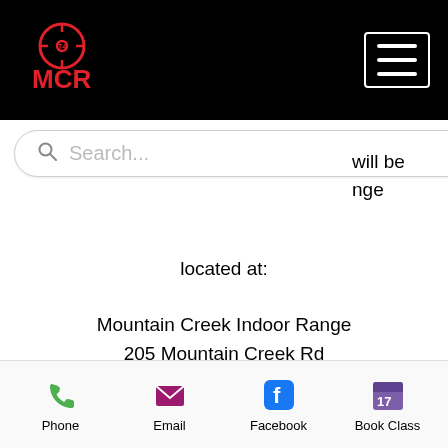MCR - Mountain Creek Range
will be
nge
located at:
Mountain Creek Indoor Range
205 Mountain Creek Rd
Killeen, TX 76542.
(254) 793-3070
Come ready to learn and have some fun!
Upcoming Sessions
Phone   Email   Facebook   Book Class